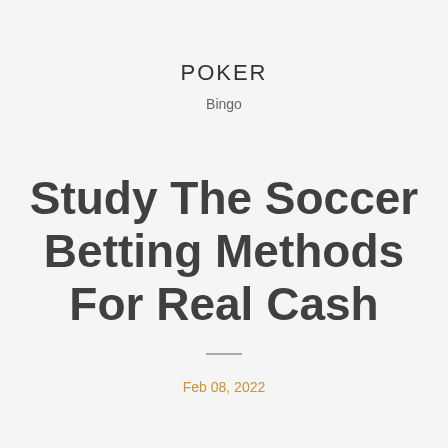POKER
Bingo
Study The Soccer Betting Methods For Real Cash
Feb 08, 2022